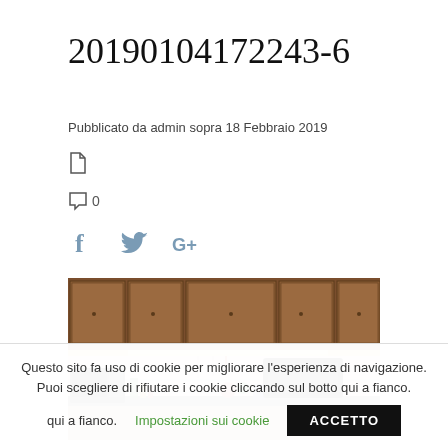20190104172243-6
Pubblicato da admin sopra 18 Febbraio 2019
[Figure (photo): Kitchen interior showing wooden upper cabinets, under-cabinet LED lighting illuminating a white tiled backsplash, and various kitchen items including a microwave, bottles, and utensils on the counter.]
Questo sito fa uso di cookie per migliorare l'esperienza di navigazione. Puoi scegliere di rifiutare i cookie cliccando sul botto qui a fianco.
Impostazioni sui cookie
ACCETTO